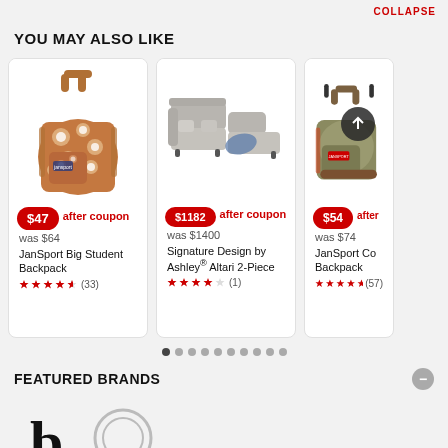COLLAPSE
YOU MAY ALSO LIKE
[Figure (photo): JanSport Big Student Backpack - floral pattern, brown/orange]
$47 after coupon
was $64
JanSport Big Student Backpack
★★★★½ (33)
[Figure (photo): Signature Design by Ashley Altari 2-Piece sectional sofa in gray]
$1182 after coupon
was $1400
Signature Design by Ashley® Altari 2-Piece
★★★★☆ (1)
[Figure (photo): JanSport Core Series backpack in olive/khaki]
$54 after coupon
was $74
JanSport Co Backpack
★★★★★ (57)
FEATURED BRANDS
[Figure (logo): Brand logo starting with letter b in large serif font]